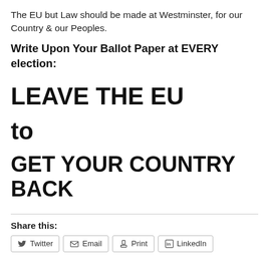The EU but Law should be made at Westminster, for our Country & our Peoples.
Write Upon Your Ballot Paper at EVERY election:
LEAVE THE EU
to
GET YOUR COUNTRY BACK
Share this:
Twitter  Email  Print  LinkedIn